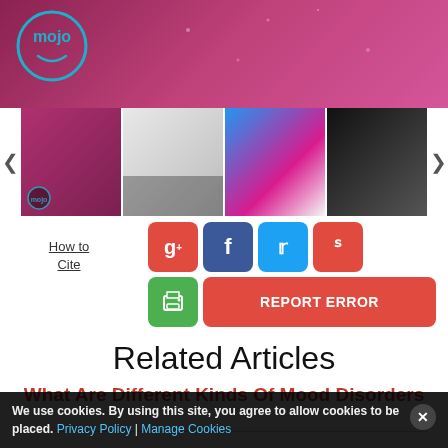[Figure (screenshot): WatchMojo (mojo) branded video thumbnail showing a face with pink/magenta tones and the mojo logo]
[Figure (screenshot): Thumbnail strip showing four video thumbnails with left/right navigation arrows]
How to Cite
[Figure (infographic): Social sharing buttons: Google+, Facebook, Twitter, StumbleUpon (red, blue, cyan, red), plus a green print button and red REPORT ERROR button]
Related Articles
What Are Different Kinds Of Mood Disorders
We use cookies. By using this site, you agree to allow cookies to be placed. Privacy Policy | Manage Cookies